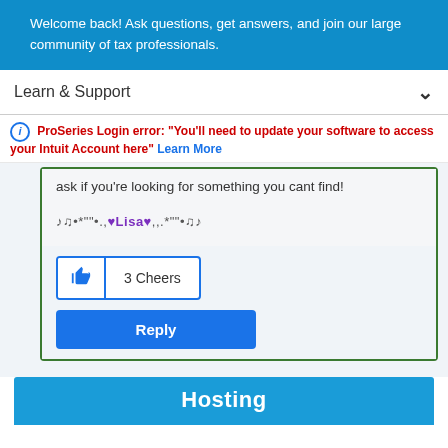Welcome back! Ask questions, get answers, and join our large community of tax professionals.
Learn & Support
ⓘ ProSeries Login error: "You'll need to update your software to access your Intuit Account here" Learn More
ask if you're looking for something you cant find!
♪♫•*"*•.,¸¸.♥Lisa♥¸¸,.•*"*•♫♪
3 Cheers
Reply
Hosting